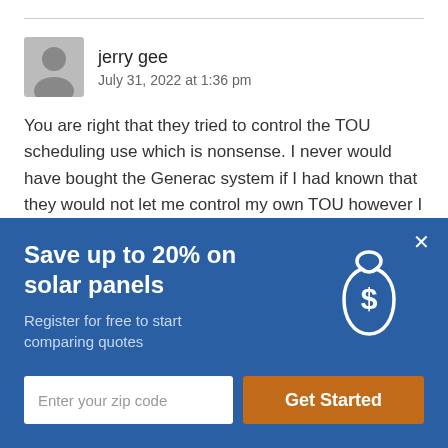jerry gee
July 31, 2022 at 1:36 pm
You are right that they tried to control the TOU scheduling use which is nonsense. I never would have bought the Generac system if I had known that they would not let me control my own TOU however I wanted. They have a new
[Figure (infographic): Blue popup banner with money bag icon. Headline: Save up to 20% on solar panels. Subtext: Register for free to start comparing quotes. Input: Enter your zip code. Button: Get Started.]